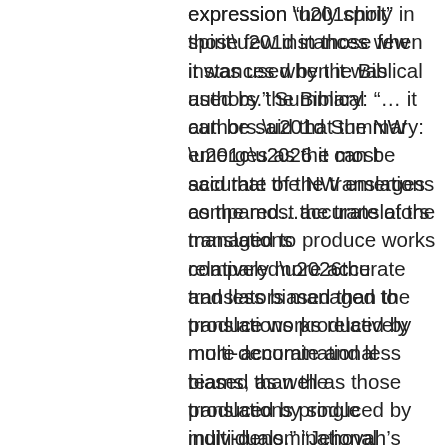expression “holy spirit” in those few instances when it was used by the Biblical authors.” Summary: “… it can be said that the NW emerges as the most accurate of the translations compared…the translators managed to produce works relatively more accurate and less biased than the translations produced by multi-denominational teams, as well as those produced by single individuals.” “Jehovah’s Witnesses… really sought to reinvent Christianity from scratch… building their system of belief and practice